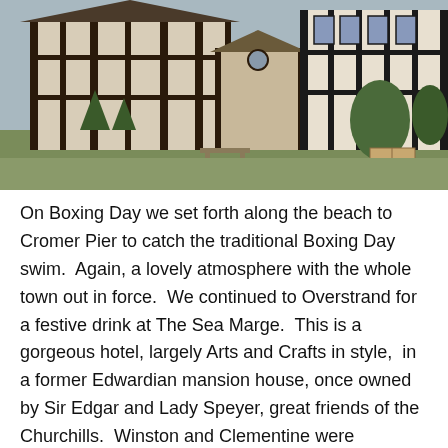[Figure (photo): Exterior photograph of a Tudor-style half-timbered building with black and white timber framing, a thatched or tiled roof, and a garden in the foreground with topiary trees and a bench.]
On Boxing Day we set forth along the beach to Cromer Pier to catch the traditional Boxing Day swim.  Again, a lovely atmosphere with the whole town out in force.  We continued to Overstrand for a festive drink at The Sea Marge.  This is a gorgeous hotel, largely Arts and Crafts in style,  in a former Edwardian mansion house, once owned by Sir Edgar and Lady Speyer, great friends of the Churchills.  Winston and Clementine were holidaying here with their children just before the outbreak of the First World War and it was from here that Winston Churchill made the call to mobilise the fleet before hurrying back to London.  The house was one of the first in the area to have a telephone line. Edgar Speyer was an American-born financier with